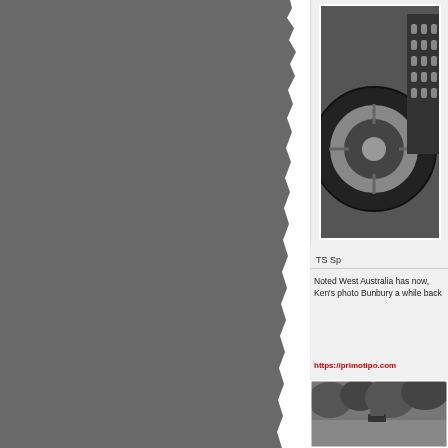[Figure (photo): Black and white vintage photograph of a racing car wheel and grille, partially cropped]
TS Sp
Noted West Australia has now, Ken's photo Bunbury a while back
https://primotipo.com
[Figure (photo): Black and white vintage photograph of a racing car on a road, partially cropped]